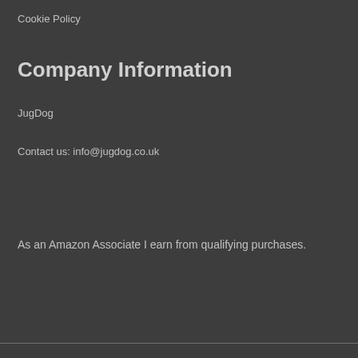Cookie Policy
Company Information
JugDog
Contact us: info@jugdog.co.uk
As an Amazon Associate I earn from qualifying purchases.